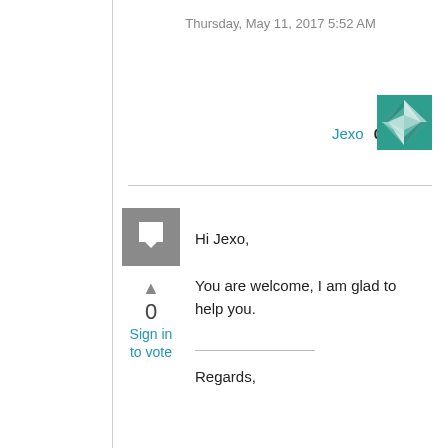Thursday, May 11, 2017 5:52 AM
Jexo   0 Points
[Figure (illustration): Teal/green geometric avatar icon for user Jexo]
[Figure (illustration): Gray square flag/bookmark icon]
▲
0
Sign in
to vote
Hi Jexo,
You are welcome, I am glad to help you.
Regards,